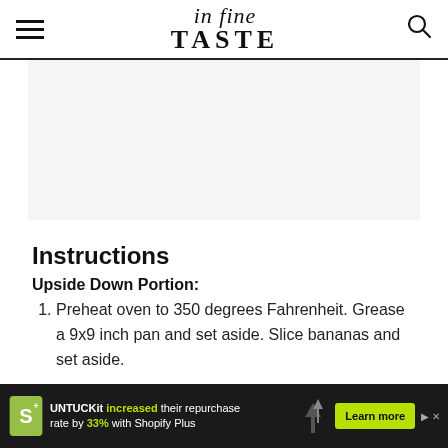in fine TASTE
[Figure (other): Gray content/image placeholder area]
Instructions
Upside Down Portion:
Preheat oven to 350 degrees Fahrenheit. Grease a 9x9 inch pan and set aside. Slice bananas and set aside.
[Figure (other): Advertisement bar: UNTUCKit increased their repurchase rate by 33% with Shopify Plus. Learn more button.]